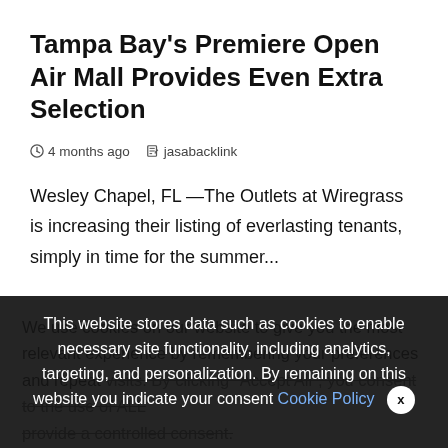Tampa Bay's Premiere Open Air Mall Provides Even Extra Selection
4 months ago   jasabacklink
Wesley Chapel, FL —The Outlets at Wiregrass is increasing their listing of everlasting tenants, simply in time for the summer...
We use cookies on our website to give you the most relevant experience by remembering your preferences and repeat visits. By clicking "Accept All", you consent to the use of ALL provide a controlled consent.
This website stores data such as cookies to enable necessary site functionality, including analytics, targeting, and personalization. By remaining on this website you indicate your consent Cookie Policy  X